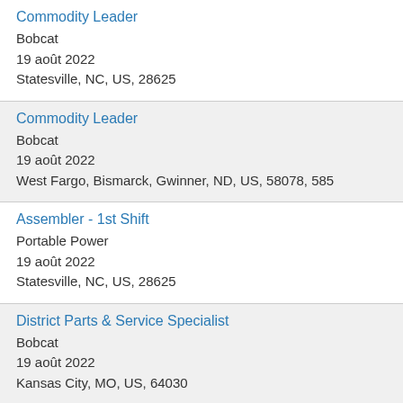Commodity Leader
Bobcat
19 août 2022
Statesville, NC, US, 28625
Commodity Leader
Bobcat
19 août 2022
West Fargo, Bismarck, Gwinner, ND, US, 58078, 585
Assembler - 1st Shift
Portable Power
19 août 2022
Statesville, NC, US, 28625
District Parts & Service Specialist
Bobcat
19 août 2022
Kansas City, MO, US, 64030
Fabricator 1st Shift